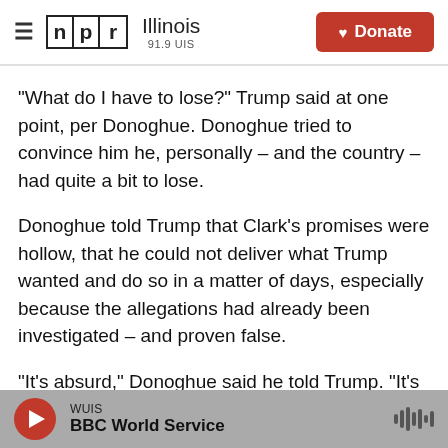NPR Illinois 91.9 UIS | Donate
"What do I have to lose?" Trump said at one point, per Donoghue. Donoghue tried to convince him he, personally – and the country – had quite a bit to lose.
Donoghue told Trump that Clark's promises were hollow, that he could not deliver what Trump wanted and do so in a matter of days, especially because the allegations had already been investigated – and proven false.
"It's absurd," Donoghue said he told Trump. "It's not
WUIS | BBC World Service